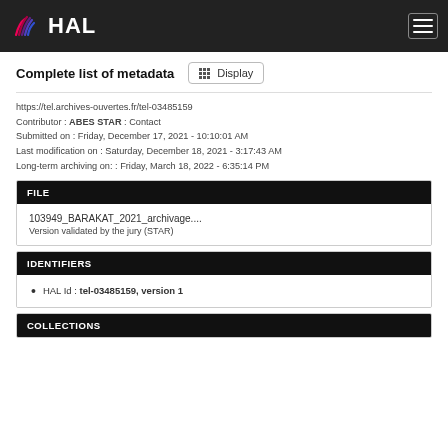HAL
Complete list of metadata
https://tel.archives-ouvertes.fr/tel-03485159
Contributor : ABES STAR : Contact
Submitted on : Friday, December 17, 2021 - 10:10:01 AM
Last modification on : Saturday, December 18, 2021 - 3:17:43 AM
Long-term archiving on: : Friday, March 18, 2022 - 6:35:14 PM
FILE
103949_BARAKAT_2021_archivage....
Version validated by the jury (STAR)
IDENTIFIERS
HAL Id : tel-03485159, version 1
COLLECTIONS